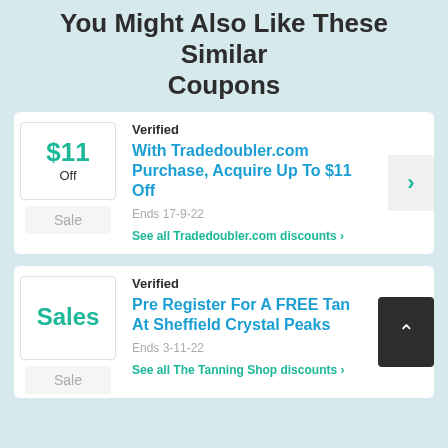You Might Also Like These Similar Coupons
Verified | With Tradedoubler.com Purchase, Acquire Up To $11 Off | Ends 17-9-22 | See all Tradedoubler.com discounts
Verified | Pre Register For A FREE Tan At Sheffield Crystal Peaks | Ends 3-11-22 | See all The Tanning Shop discounts